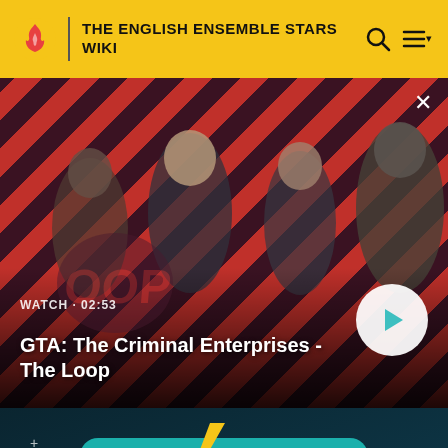THE ENGLISH ENSEMBLE STARS WIKI
[Figure (screenshot): Video thumbnail showing GTA: The Criminal Enterprises - The Loop with characters on red diagonal striped background. Shows WATCH · 02:53 label and play button.]
GTA: The Criminal Enterprises - The Loop
[Figure (screenshot): Fandom promotional banner with teal/dark teal background showing gaming-themed illustration with FANDOM text]